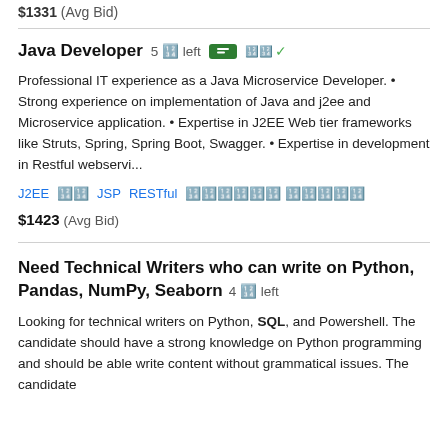$1331 (Avg Bid)
Java Developer  5 🔢 left
Professional IT experience as a Java Microservice Developer. • Strong experience on implementation of Java and j2ee and Microservice application. • Expertise in J2EE Web tier frameworks like Struts, Spring, Spring Boot, Swagger. • Expertise in development in Restful webservi...
J2EE  🔢  JSP  RESTful  🔢🔢🔢🔢🔢🔢 🔢🔢🔢🔢🔢
$1423  (Avg Bid)
Need Technical Writers who can write on Python, Pandas, NumPy, Seaborn  4 🔢 left
Looking for technical writers on Python, SQL, and Powershell. The candidate should have a strong knowledge on Python programming and should be able write content without grammatical issues. The candidate